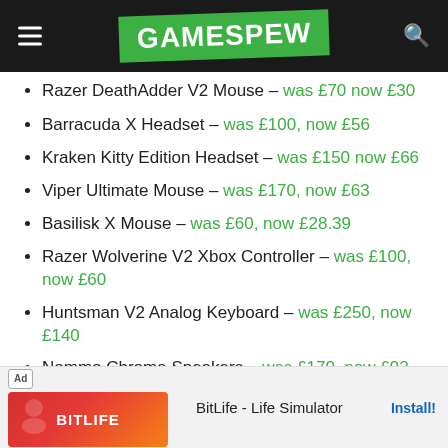GAMESPEW
Razer DeathAdder V2 Mouse – was £70 now £30
Barracuda X Headset – was £100, now £56
Kraken Kitty Edition Headset – was £150 now £66
Viper Ultimate Mouse – was £170, now £63
Basilisk X Mouse – was £60, now £28.39
Razer Wolverine V2 Xbox Controller – was £100, now £60
Huntsman V2 Analog Keyboard – was £250, now £140
Nommo Chroma Speakers – was £170, now £92
Go...
[Figure (screenshot): BitLife - Life Simulator advertisement banner with Install! button]